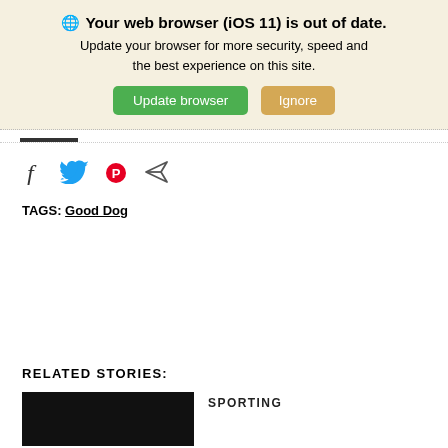[Figure (screenshot): Browser update banner with globe icon, bold title 'Your web browser (iOS 11) is out of date.', update message, green 'Update browser' button and tan 'Ignore' button on a beige background]
[Figure (infographic): Social share icons: Facebook f, Twitter bird, Pinterest P, paper airplane/send icon]
TAGS:  Good Dog
RELATED STORIES:
[Figure (photo): Black thumbnail image for a related story]
SPORTING